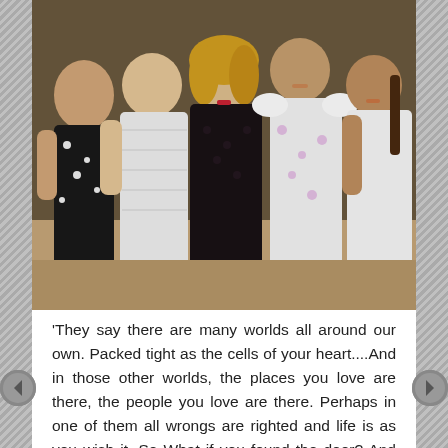[Figure (photo): Group photo of five women posing together. From left to right: a woman in a black floral mini dress, a woman in a white ruffled dress, a blonde woman in a black lace dress, a woman in a floral white dress, and a woman in a white outfit with braided hair. They are posing indoors at what appears to be a social event.]
'They say there are many worlds all around our own. Packed tight as the cells of your heart....And in those other worlds, the places you love are there, the people you love are there. Perhaps in one of them all wrongs are righted and life is as you wish it. So What if you found the door? And what if you found the key? Because everyone knows this: That the impossible